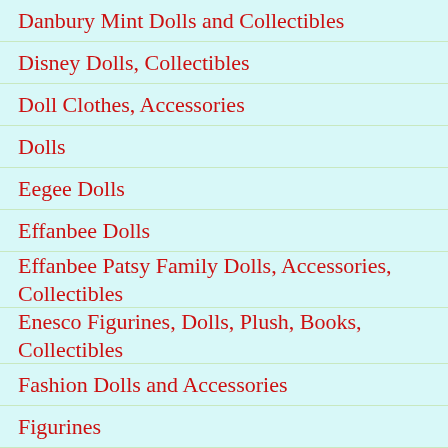Danbury Mint Dolls and Collectibles
Disney Dolls, Collectibles
Doll Clothes, Accessories
Dolls
Eegee Dolls
Effanbee Dolls
Effanbee Patsy Family Dolls, Accessories, Collectibles
Enesco Figurines, Dolls, Plush, Books, Collectibles
Fashion Dolls and Accessories
Figurines